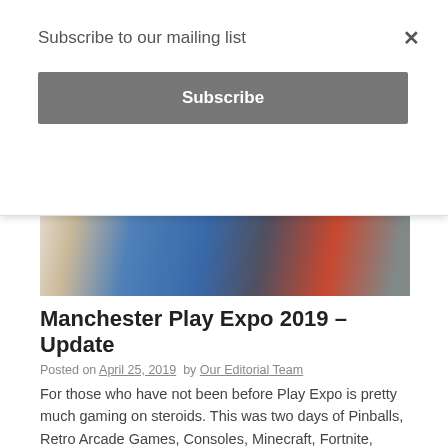Subscribe to our mailing list
Subscribe
[Figure (photo): Group of people at an event, smiling, wearing casual clothes including blue hoodie and red top]
Manchester Play Expo 2019 – Update
Posted on April 25, 2019  by Our Editorial Team
For those who have not been before Play Expo is pretty much gaming on steroids. This was two days of Pinballs, Retro Arcade Games, Consoles, Minecraft, Fortnite, Trade Stands and so much more. If you …
Read More
[Figure (photo): Image with large red text reading FASTER on a blue background]